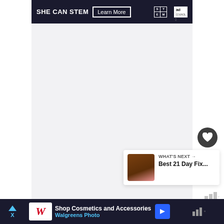[Figure (screenshot): SHE CAN STEM advertisement banner with 'Learn More' button, STEM logo, and Ad Council logo on dark background]
[Figure (screenshot): Main content area - light gray empty content region with heart/like button showing 3K count and share button on the right side, and a 'What's Next' card showing 'Best 21 Day Fix...' recommendation]
[Figure (screenshot): Bottom advertisement for Walgreens Photo: 'Shop Cosmetics and Accessories' with Walgreens logo, blue arrow navigation icon, and Tubi logo on the right]